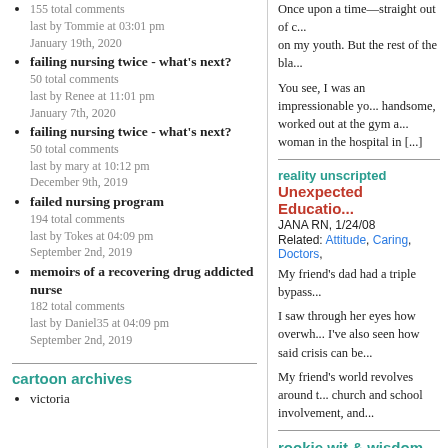155 total comments
last by Tommie at 03:01 pm
January 19th, 2020
failing nursing twice - what's next?
50 total comments
last by Renee at 11:01 pm
January 7th, 2020
failing nursing twice - what's next?
50 total comments
last by mary at 10:12 pm
December 9th, 2019
failed nursing program
194 total comments
last by Tokes at 04:09 pm
September 2nd, 2019
memoirs of a recovering drug addicted nurse
182 total comments
last by Daniel35 at 04:09 pm
September 2nd, 2019
cartoon archives
victoria
Once upon a time—straight out of c... on my youth. But the rest of the bla...
You see, I was an impressionable yo... handsome, worked out at the gym a... woman in the hospital in [...]
reality unscripted
Unexpected Educatio...
JANA RN, 1/24/08
Related: Attitude, Caring, Doctors,
My friend's dad had a triple bypass...
I saw through her eyes how overwh... I've also seen how said crisis can be...
My friend's world revolves around t... church and school involvement, and...
rookie wit & wisdom